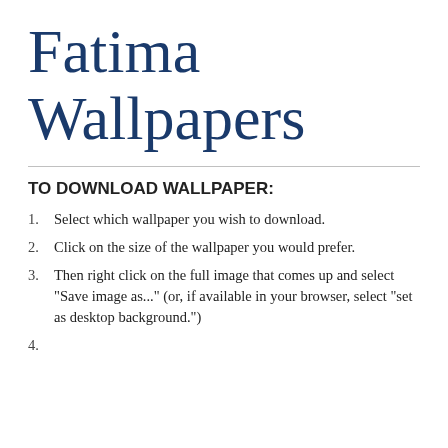Fatima Wallpapers
TO DOWNLOAD WALLPAPER:
Select which wallpaper you wish to download.
Click on the size of the wallpaper you would prefer.
Then right click on the full image that comes up and select "Save image as..." (or, if available in your browser, select "set as desktop background.")
In the...